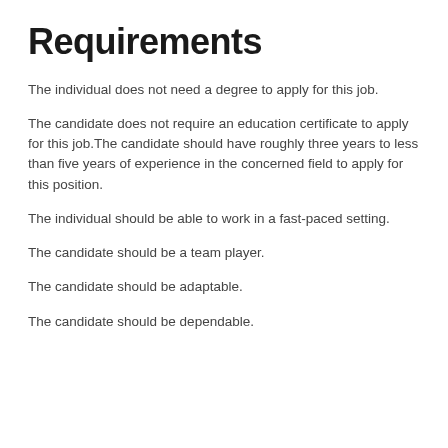Requirements
The individual does not need a degree to apply for this job.
The candidate does not require an education certificate to apply for this job.The candidate should have roughly three years to less than five years of experience in the concerned field to apply for this position.
The individual should be able to work in a fast-paced setting.
The candidate should be a team player.
The candidate should be adaptable.
The candidate should be dependable.